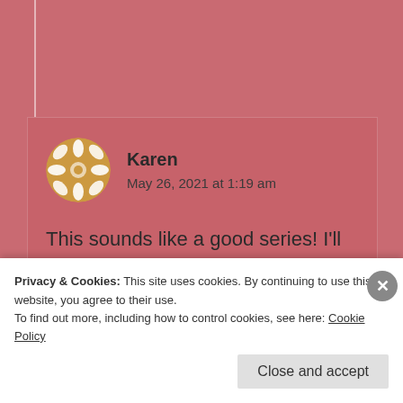[Figure (illustration): User avatar - circular decorative mandala/snowflake pattern in gold and white]
Karen
May 26, 2021 at 1:19 am
This sounds like a good series! I'll have to see if I can find it.
Privacy & Cookies: This site uses cookies. By continuing to use this website, you agree to their use.
To find out more, including how to control cookies, see here: Cookie Policy
Close and accept